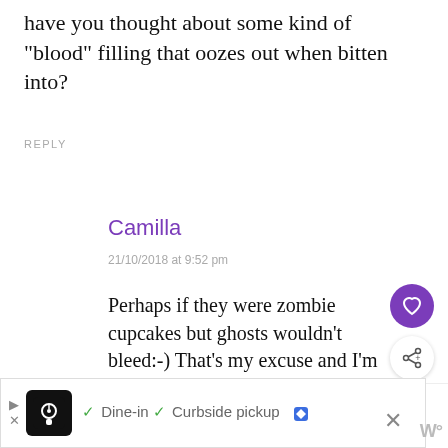have you thought about some kind of "blood" filling that oozes out when bitten into?
REPLY
Camilla
21/10/2018 at 9:52 pm
Perhaps if they were zombie cupcakes but ghosts wouldn't bleed:-) That's my excuse and I'm sticking to it:-)
WHAT'S NEXT → Chocolate Pear Ghosts...
REPLY
[Figure (screenshot): Ad bar showing Dine-in and Curbside pickup options with restaurant icon]